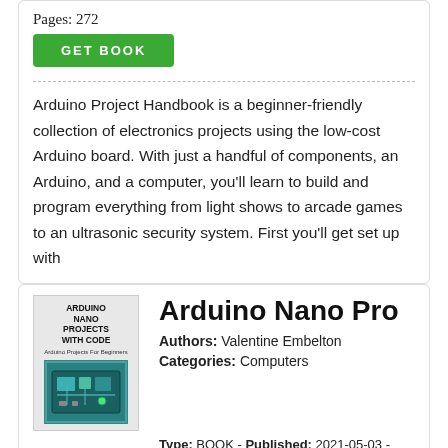Pages: 272
GET BOOK
Arduino Project Handbook is a beginner-friendly collection of electronics projects using the low-cost Arduino board. With just a handful of components, an Arduino, and a computer, you'll learn to build and program everything from light shows to arcade games to an ultrasonic security system. First you'll get set up with
[Figure (illustration): Book cover for 'Arduino Nano Projects With Code' showing a circuit board image]
Arduino Nano Pro
Authors: Valentine Embelton
Categories: Computers
Language: en
Pages: 156
Type: BOOK - Published: 2021-05-03 - Publisher:
GET BOOK